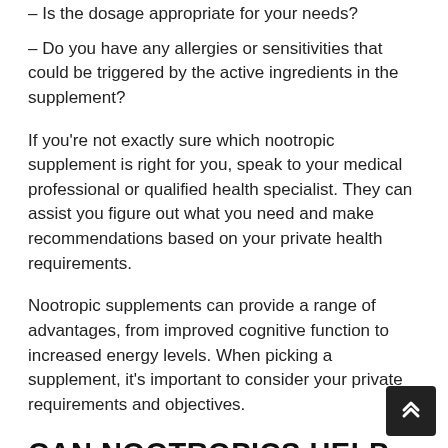– Is the dosage appropriate for your needs?
– Do you have any allergies or sensitivities that could be triggered by the active ingredients in the supplement?
If you're not exactly sure which nootropic supplement is right for you, speak to your medical professional or qualified health specialist. They can assist you figure out what you need and make recommendations based on your private health requirements.
Nootropic supplements can provide a range of advantages, from improved cognitive function to increased energy levels. When picking a supplement, it's important to consider your private requirements and objectives.
CAN NOOTROPICS HELP TO